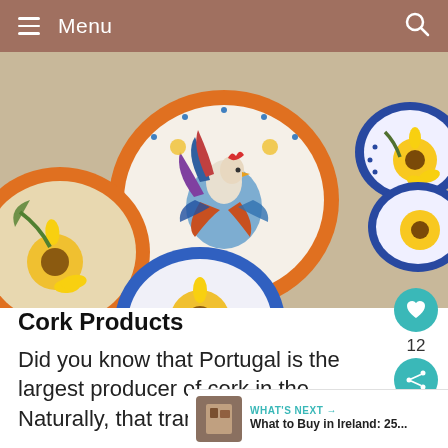Menu
[Figure (photo): Colorful hand-painted Portuguese ceramic bowls and plates featuring roosters, sunflowers, and floral designs, displayed on a table.]
Cork Products
Did you know that Portugal is the largest producer of cork in the
Naturally, that translates to an
WHAT'S NEXT → What to Buy in Ireland: 25...